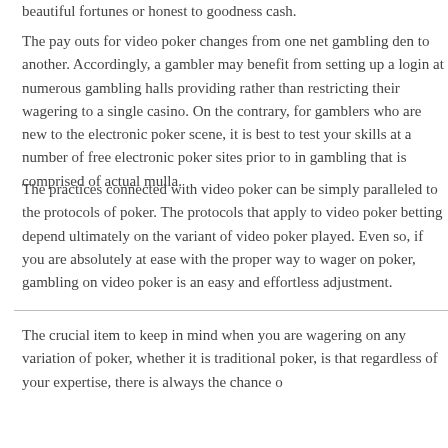beautiful fortunes or honest to goodness cash.
The pay outs for video poker changes from one net gambling den to another. Accordingly, a gambler may benefit from setting up a login at numerous gambling halls providing rather than restricting their wagering to a single casino. On the contrary, for gamblers who are new to the electronic poker scene, it is best to test your skills at a number of free electronic poker sites prior to in gambling that is comprised of actual mulla.
The practices connected with video poker can be simply paralleled to the protocols of poker. The protocols that apply to video poker betting depend ultimately on the variant of video poker played. Even so, if you are absolutely at ease with the proper way to wager on poker, gambling on video poker is an easy and effortless adjustment.
The crucial item to keep in mind when you are wagering on any variation of poker, whether it is traditional poker, is that regardless of your expertise, there is always the chance o